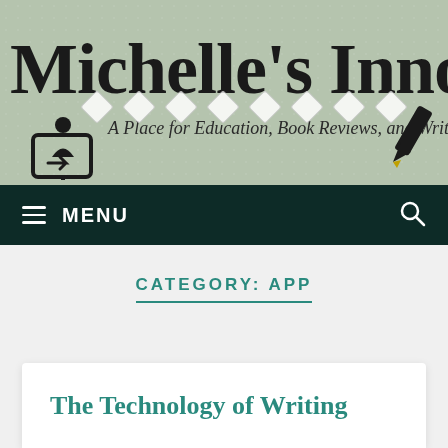[Figure (screenshot): Website header banner with sage green background, showing "Michelle's Innova" (truncated) in large serif font, subtitle 'A Place for Education, Book Reviews, and Writing' in italic, with person icon, pencil icon, and decorative diamond shapes overlaid]
MENU
CATEGORY: APP
The Technology of Writing